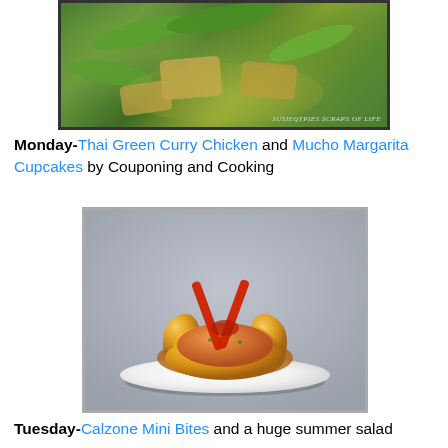[Figure (photo): Close-up photo of Thai Green Curry Chicken with green vegetables and snow peas in a green curry sauce, with watermark text 'susieqtpies scraps of life']
Monday-Thai Green Curry Chicken and Mucho Margarita Cupcakes by Couponing and Cooking
[Figure (photo): Photo of a Calzone Mini Bite in a pastry cup topped with red pepper strips on a white plate, against a gray background]
Tuesday-Calzone Mini Bites and a huge summer salad